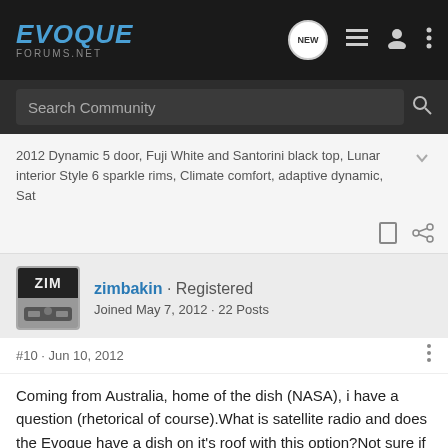EVOQUE FORUMS.NET
Search Community
2012 Dynamic 5 door, Fuji White and Santorini black top, Lunar interior Style 6 sparkle rims, Climate comfort, adaptive dynamic, Sat
zimbakin · Registered
Joined May 7, 2012 · 22 Posts
#10 · Jun 10, 2012
Coming from Australia, home of the dish (NASA), i have a question (rhetorical of course).What is satellite radio and does the Evoque have a dish on it's roof with this option?Not sure if it's an option here. We have digital, though.